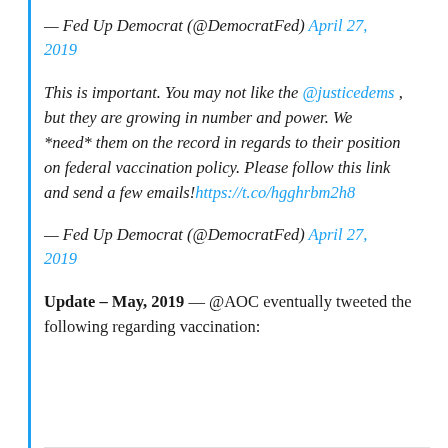— Fed Up Democrat (@DemocratFed) April 27, 2019
This is important. You may not like the @justicedems , but they are growing in number and power. We *need* them on the record in regards to their position on federal vaccination policy. Please follow this link and send a few emails!https://t.co/hgghrbm2h8
— Fed Up Democrat (@DemocratFed) April 27, 2019
Update – May, 2019 — @AOC eventually tweeted the following regarding vaccination: